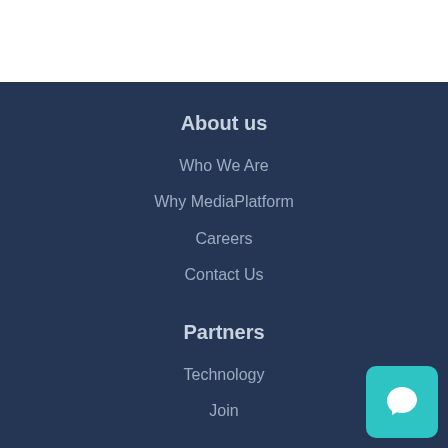About us
Who We Are
Why MediaPlatform
Careers
Contact Us
Partners
Technology
Join